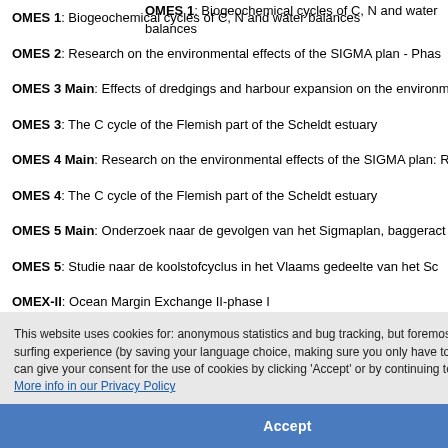OMES 1: Biogeochemical cycles of C, N and water balances
OMES 2: Research on the environmental effects of the SIGMA plan - Phas…
OMES 3 Main: Effects of dredgings and harbour expansion on the environ…
OMES 3: The C cycle of the Flemish part of the Scheldt estuary
OMES 4 Main: Research on the environmental effects of the SIGMA plan: …
OMES 4: The C cycle of the Flemish part of the Scheldt estuary
OMES 5 Main: Onderzoek naar de gevolgen van het Sigmaplan, baggerac…
OMES 5: Studie naar de koolstofcyclus in het Vlaams gedeelte van het Sc…
OMEX-II: Ocean Margin Exchange II-phase I
OMEX-II: Ocean Margin Exchange II-phase II
…ysico-chemische parameters op transp…
…vitro en in situ experimenten.
…automatiseerde opstelling voor concentr…
…en in biogeochemische studies van estu…
…n and application of independent salinity…